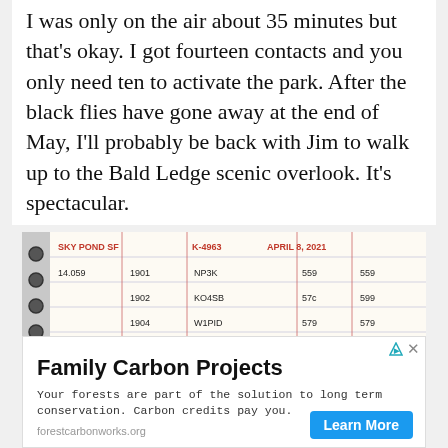I was only on the air about 35 minutes but that's okay. I got fourteen contacts and you only need ten to activate the park. After the black flies have gone away at the end of May, I'll probably be back with Jim to walk up to the Bald Ledge scenic overlook. It's spectacular.
[Figure (photo): A handwritten notebook log showing amateur radio contacts. Header reads: SKY POND SF K-4963 APRIL 8, 2021. Rows show frequency 14.059, times 1901-1907, and callsigns NP3K, KO4SB, W1PID, W56AI, K2WO, AR9CA with signal reports.]
[Figure (screenshot): Advertisement for Family Carbon Projects. Text: 'Your forests are part of the solution to long term conservation. Carbon credits pay you.' URL: forestcarbonworks.org. Blue 'Learn More' button.]